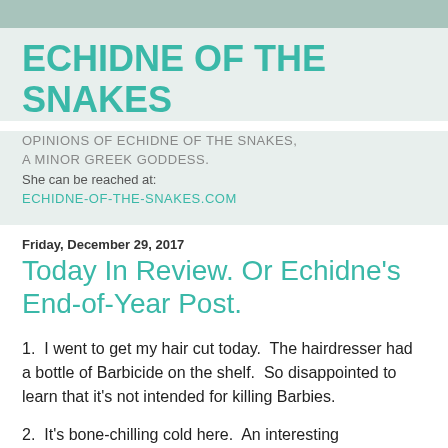ECHIDNE OF THE SNAKES
OPINIONS OF ECHIDNE OF THE SNAKES, A MINOR GREEK GODDESS.
She can be reached at:
ECHIDNE-OF-THE-SNAKES.COM
Friday, December 29, 2017
Today In Review. Or Echidne's End-of-Year Post.
1.  I went to get my hair cut today.  The hairdresser had a bottle of Barbicide on the shelf.  So disappointed to learn that it's not intended for killing Barbies.
2.  It's bone-chilling cold here.  An interesting observation: